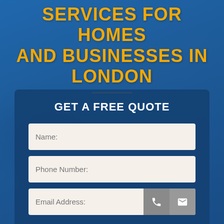SERVICES FOR HOMES AND BUSINESSES IN LONDON
GET A FREE QUOTE
Name:
Phone Number:
Email Address: